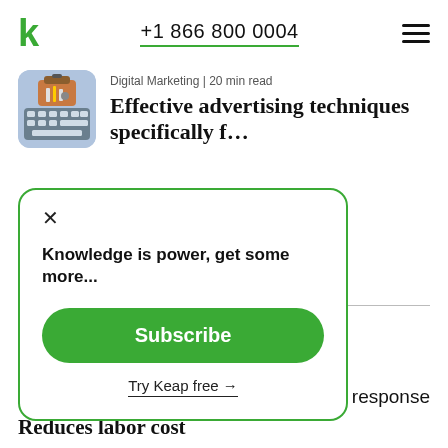+1 866 800 0004
Digital Marketing | 20 min read
Effective advertising techniques specifically for small business
[Figure (photo): Thumbnail photo showing a toolbox on a keyboard]
Knowledge is power, get some more...
Subscribe
Try Keap free →
response
Reduces labor cost